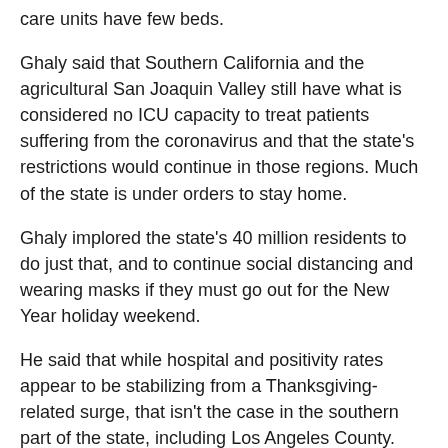care units have few beds.
Ghaly said that Southern California and the agricultural San Joaquin Valley still have what is considered no ICU capacity to treat patients suffering from the coronavirus and that the state's restrictions would continue in those regions. Much of the state is under orders to stay home.
Ghaly implored the state's 40 million residents to do just that, and to continue social distancing and wearing masks if they must go out for the New Year holiday weekend.
He said that while hospital and positivity rates appear to be stabilizing from a Thanksgiving-related surge, that isn't the case in the southern part of the state, including Los Angeles County.
'We have not heard yet that any hospital is at the point where they need to make a decision between two patients who both need a ventilator, and they only have one ventilator,' he said, but some overwhelmed hospitals don't have space to unload ambulances or get oxygen to patients who can't breathe.